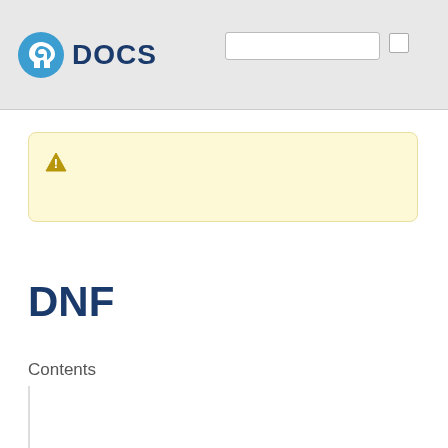Fedora DOCS
[Figure (other): Warning/notice box with yellow background and a warning triangle icon]
DNF
Contents